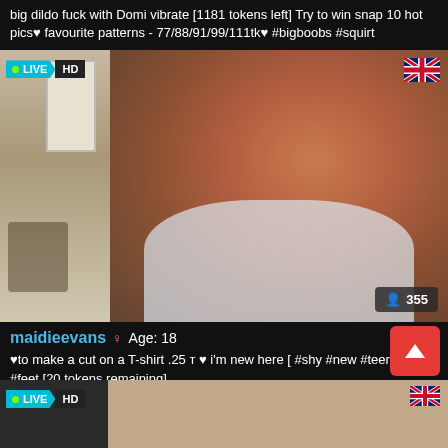big dildo fuck with Domi vibrate [1181 tokens left] Try to win snap 10 hot pics♥ favourite patterns - 77/88/91/99/111tk♥ #bigboobs #squirt
[Figure (screenshot): Live HD webcam stream thumbnail showing a young woman with red hair in a white t-shirt, leaning forward. A mirror reflection of a room is visible on the left side. LIVE HD badge top-left, UK flag top-right, viewer count 355 bottom-right.]
maidieevans ♀ Age: 18
♥to make a cut on a T-shirt .25 т ♥ i'm new here [ #shy #new #teen #18 #feet [20 tokens remaining]
[Figure (screenshot): Second live HD webcam stream thumbnail partially visible at the bottom of the page. LIVE HD badge and UK flag visible.]